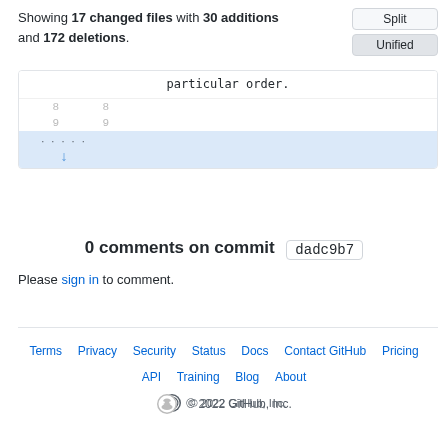Showing 17 changed files with 30 additions and 172 deletions.
[Figure (screenshot): GitHub diff view showing buttons: Split and Unified (active). Code diff box with line 'particular order.' and line numbers 8, 9, and an expand row with dotted arrow icon.]
0 comments on commit dadc9b7
Please sign in to comment.
Terms  Privacy  Security  Status  Docs  Contact GitHub  Pricing  API  Training  Blog  About  © 2022 GitHub, Inc.